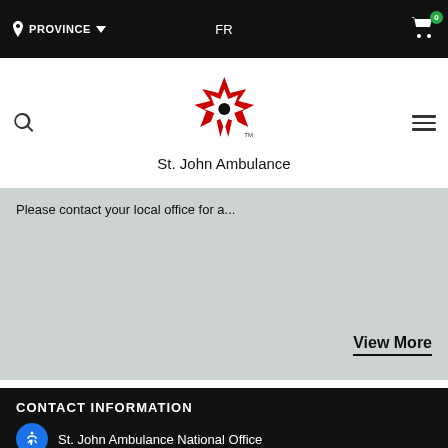PROVINCE  FR  0
[Figure (logo): St. John Ambulance logo with red maple leaf and white Maltese cross]
Please contact your local office for a...
View More
CONTACT INFORMATION
St. John Ambulance National Office